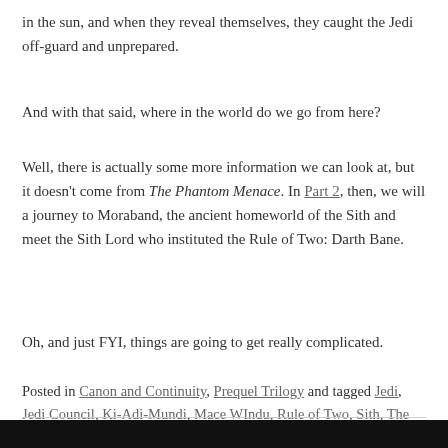in the sun, and when they reveal themselves, they caught the Jedi off-guard and unprepared.
And with that said, where in the world do we go from here?
Well, there is actually some more information we can look at, but it doesn't come from The Phantom Menace. In Part 2, then, we will a journey to Moraband, the ancient homeworld of the Sith and meet the Sith Lord who instituted the Rule of Two: Darth Bane.
Oh, and just FYI, things are going to get really complicated.
Posted in Canon and Continuity, Prequel Trilogy and tagged Jedi, Jedi Council, Ki-Adi-Mundi, Mace WIndu, Rule of Two, Sith, The Phantom Menace, Yoda on June 4, 2015. 11 Comments